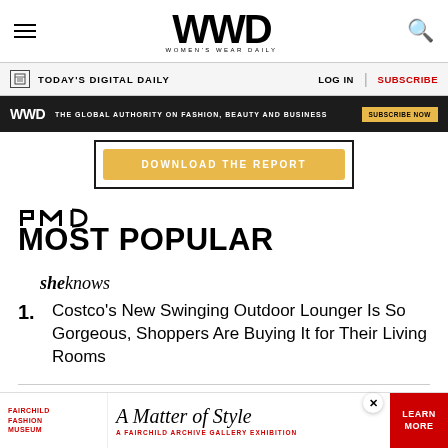WWD Women's Wear Daily
TODAY'S DIGITAL DAILY  LOG IN  SUBSCRIBE
WWD  THE GLOBAL AUTHORITY ON FASHION, BEAUTY AND BUSINESS  SUBSCRIBE NOW
DOWNLOAD THE REPORT
[Figure (logo): PMC logo in black text]
MOST POPULAR
[Figure (logo): SheKnows logo in italic serif font]
1. Costco's New Swinging Outdoor Lounger Is So Gorgeous, Shoppers Are Buying It for Their Living Rooms
[Figure (logo): Variety logo in italic serif font]
[Figure (other): Fairchild Fashion Museum ad - A Matter of Style, A Fairchild Archive Gallery Exhibition with LEARN MORE button]